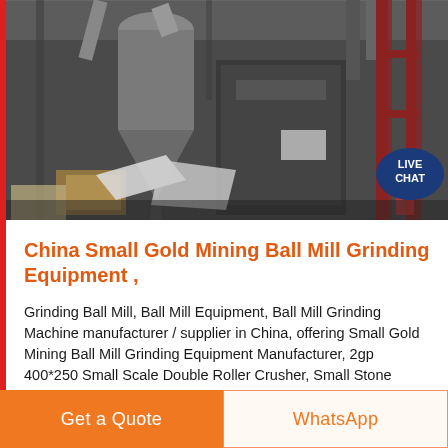[Figure (photo): Industrial mining equipment including ball mills, cyclone separators, and conveyor systems inside a large warehouse/factory setting. Heavy grey metal machinery visible with red structural supports.]
China Small Gold Mining Ball Mill Grinding Equipment ,
Grinding Ball Mill, Ball Mill Equipment, Ball Mill Grinding Machine manufacturer / supplier in China, offering Small Gold Mining Ball Mill Grinding Equipment Manufacturer, 2gp 400*250 Small Scale Double Roller Crusher, Small Stone Crusher Machine, Easy Operation Ore Gravity Separator Spiral